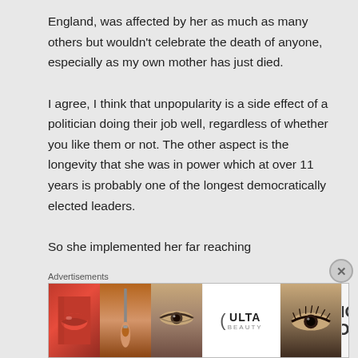England, was affected by her as much as many others but wouldn't celebrate the death of anyone, especially as my own mother has just died.
I agree, I think that unpopularity is a side effect of a politician doing their job well, regardless of whether you like them or not. The other aspect is the longevity that she was in power which at over 11 years is probably one of the longest democratically elected leaders.
So she implemented her far reaching
Advertisements
[Figure (photo): Advertisement banner for ULTA Beauty showing close-up images of lips with lipstick, a makeup brush, an eye with makeup, the ULTA Beauty logo, another eye with dramatic makeup, and a 'SHOP NOW' call to action button.]